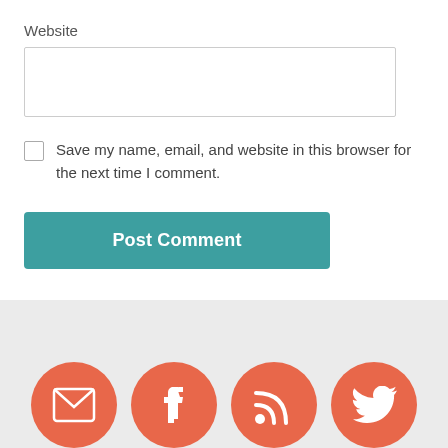Website
Save my name, email, and website in this browser for the next time I comment.
Post Comment
[Figure (infographic): Four social media icon circles (email, Facebook, RSS, Twitter) in salmon/coral color at the bottom of the page]